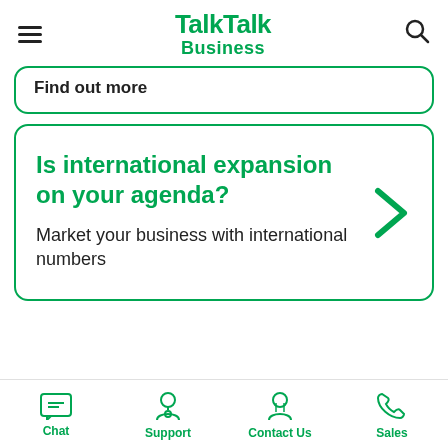[Figure (logo): TalkTalk Business logo with hamburger menu and search icon]
Find out more
Is international expansion on your agenda?
Market your business with international numbers
Chat | Support | Contact Us | Sales